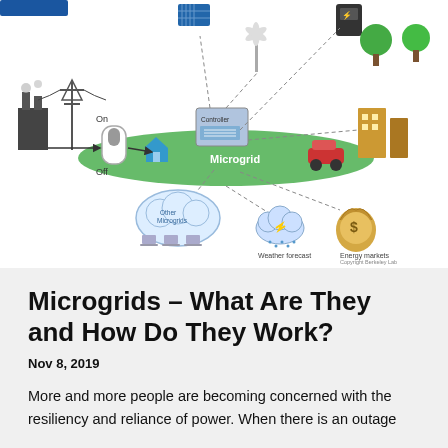[Figure (schematic): Microgrid diagram showing connections between main grid (with on/off switch), renewable energy sources (solar panels, wind turbine, EV charger), a central microgrid platform with controller, houses, commercial buildings, electric vehicle, and external inputs including Other Microgrids (cloud/network), Weather forecast, and Energy markets. Copyright Berkeley Lab.]
Microgrids – What Are They and How Do They Work?
Nov 8, 2019
More and more people are becoming concerned with the resiliency and reliance of power. When there is an outage